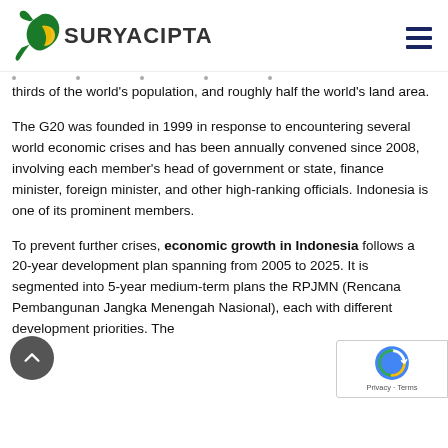[Figure (logo): Suryacipta logo with green dragon/leaf icon and yellow crescent, text SURYACIPTA in bold dark letters]
thirds of the world's population, and roughly half the world's land area.
The G20 was founded in 1999 in response to encountering several world economic crises and has been annually convened since 2008, involving each member's head of government or state, finance minister, foreign minister, and other high-ranking officials. Indonesia is one of its prominent members.
To prevent further crises, economic growth in Indonesia follows a 20-year development plan spanning from 2005 to 2025. It is segmented into 5-year medium-term plans the RPJMN (Rencana Pembangunan Jangka Menengah Nasional), each with different development priorities. The